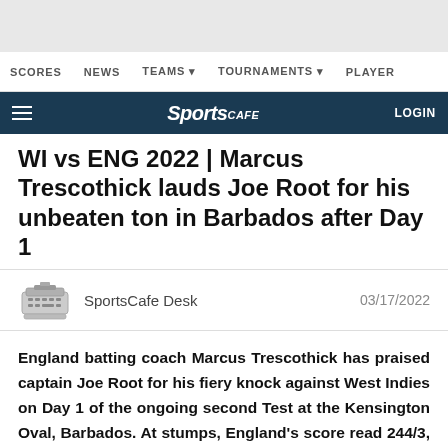SCORES   NEWS   TEAMS ▾   TOURNAMENTS ▾   PLAYER
[Figure (logo): SportsCafe logo with hamburger menu and LOGIN button on dark navy background]
WI vs ENG 2022 | Marcus Trescothick lauds Joe Root for his unbeaten ton in Barbados after Day 1
SportsCafe Desk   03/17/2022
England batting coach Marcus Trescothick has praised captain Joe Root for his fiery knock against West Indies on Day 1 of the ongoing second Test at the Kensington Oval, Barbados. At stumps, England's score read 244/3, with Root standing unbeaten at the crease after scoring 119 off 246 balls.